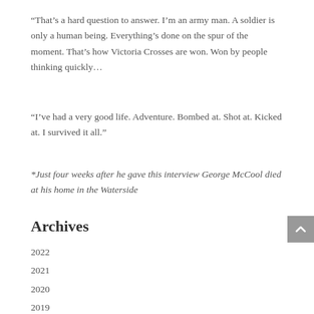“That’s a hard question to answer. I’m an army man. A soldier is only a human being. Everything’s done on the spur of the moment. That’s how Victoria Crosses are won. Won by people thinking quickly…
“I’ve had a very good life. Adventure. Bombed at. Shot at. Kicked at. I survived it all.”
*Just four weeks after he gave this interview George McCool died at his home in the Waterside
Archives
2022
2021
2020
2019
2018